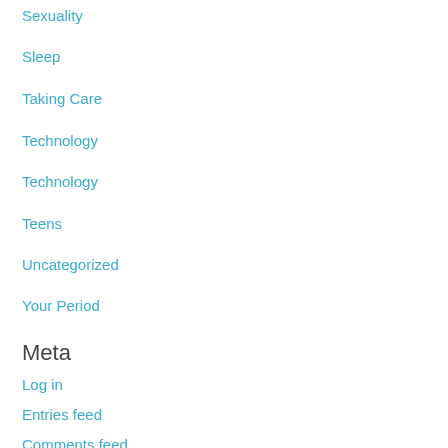Sexuality
Sleep
Taking Care
Technology
Technology
Teens
Uncategorized
Your Period
Meta
Log in
Entries feed
Comments feed
WordPress.org